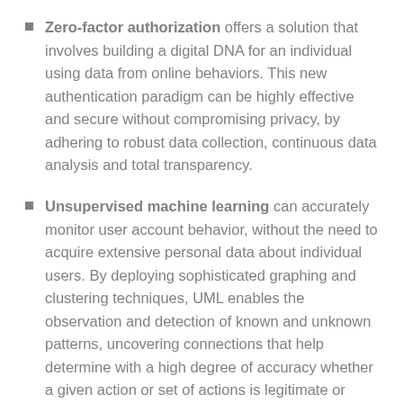Zero-factor authorization offers a solution that involves building a digital DNA for an individual using data from online behaviors. This new authentication paradigm can be highly effective and secure without compromising privacy, by adhering to robust data collection, continuous data analysis and total transparency.
Unsupervised machine learning can accurately monitor user account behavior, without the need to acquire extensive personal data about individual users. By deploying sophisticated graphing and clustering techniques, UML enables the observation and detection of known and unknown patterns, uncovering connections that help determine with a high degree of accuracy whether a given action or set of actions is legitimate or fraudulent. UML is similar to the